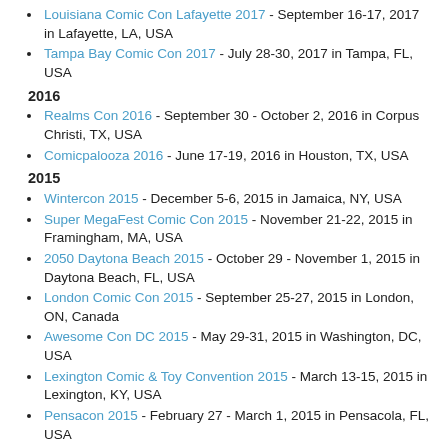Louisiana Comic Con Lafayette 2017 - September 16-17, 2017 in Lafayette, LA, USA
Tampa Bay Comic Con 2017 - July 28-30, 2017 in Tampa, FL, USA
2016
Realms Con 2016 - September 30 - October 2, 2016 in Corpus Christi, TX, USA
Comicpalooza 2016 - June 17-19, 2016 in Houston, TX, USA
2015
Wintercon 2015 - December 5-6, 2015 in Jamaica, NY, USA
Super MegaFest Comic Con 2015 - November 21-22, 2015 in Framingham, MA, USA
2050 Daytona Beach 2015 - October 29 - November 1, 2015 in Daytona Beach, FL, USA
London Comic Con 2015 - September 25-27, 2015 in London, ON, Canada
Awesome Con DC 2015 - May 29-31, 2015 in Washington, DC, USA
Lexington Comic & Toy Convention 2015 - March 13-15, 2015 in Lexington, KY, USA
Pensacon 2015 - February 27 - March 1, 2015 in Pensacola, FL, USA
Albuquerque Comic Con 2015 - January 9-11, 2015 in Albuquerque, NM, USA
2014
Phoenix Comicon Fan Fest 2014 - December 12-14, 2014 in